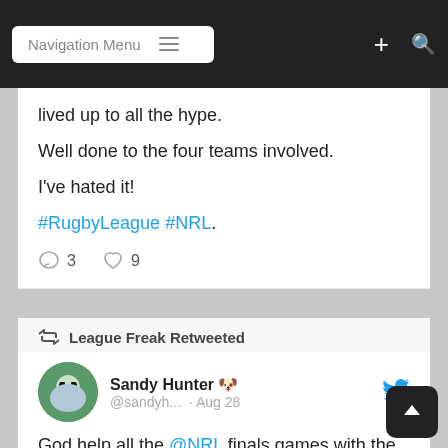Navigation Menu
lived up to all the hype.

Well done to the four teams involved.

I've hated it!

#RugbyLeague #NRL.
Comment: 3   Like: 9
League Freak Retweeted
Sandy Hunter 🐶 @sandyh... · Aug 28
God help all the @NRL finals games with the officiating.

Who knows what's going to happen. 😁😕